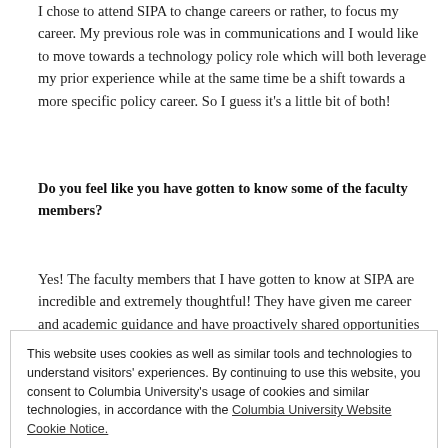I chose to attend SIPA to change careers or rather, to focus my career. My previous role was in communications and I would like to move towards a technology policy role which will both leverage my prior experience while at the same time be a shift towards a more specific policy career. So I guess it's a little bit of both!
Do you feel like you have gotten to know some of the faculty members?
Yes! The faculty members that I have gotten to know at SIPA are incredible and extremely thoughtful! They have given me career and academic guidance and have proactively shared opportunities that fit my interest. As I completed my undergraduate degree in the UK, I wasn't sure what to
This website uses cookies as well as similar tools and technologies to understand visitors' experiences. By continuing to use this website, you consent to Columbia University's usage of cookies and similar technologies, in accordance with the Columbia University Website Cookie Notice.
Close and accept
What most surprised you about SIPA after you